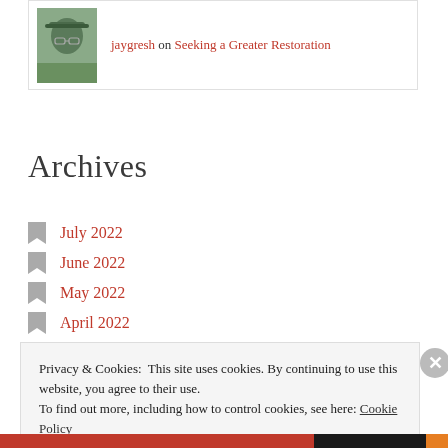[Figure (photo): Avatar photo of jaygresh — a person wearing a cap, outdoors]
jaygresh on Seeking a Greater Restoration
Archives
July 2022
June 2022
May 2022
April 2022
February 2022
Privacy & Cookies: This site uses cookies. By continuing to use this website, you agree to their use.
To find out more, including how to control cookies, see here: Cookie Policy
Close and accept